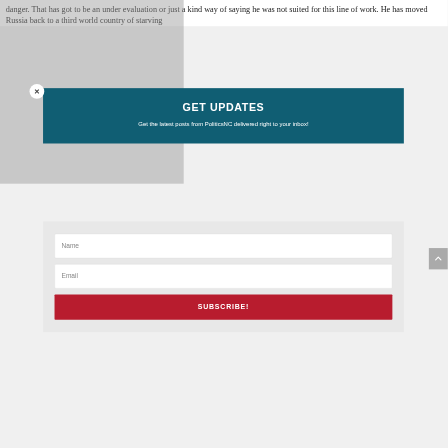danger. That has got to be an under evaluation or just a kind way of saying he was not suited for this line of work. He has moved Russia back to a third world country of starving
GET UPDATES
Get the latest posts from PoliticsNC delivered right to your inbox!
Name
Email
SUBSCRIBE!